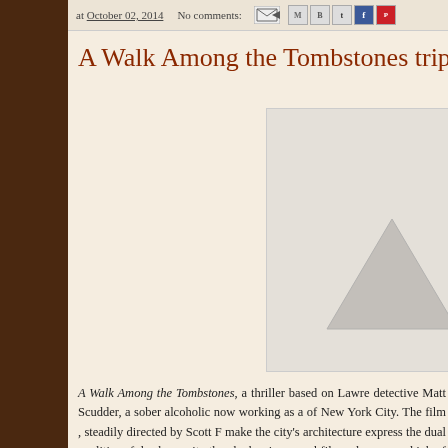at October 02, 2014   No comments:
A Walk Among the Tombstones trips o
[Figure (photo): Movie still or promotional image, partially visible, showing a triangular/pyramid shape in grayscale against a light background]
A Walk Among the Tombstones, a thriller based on Lawre detective Matt Scudder, a sober alcoholic now working as a of New York City.  The film , steadily directed by  Scott F make the city's architecture express the dual qualities of dec humanity than he has in several films, does a good job  of p